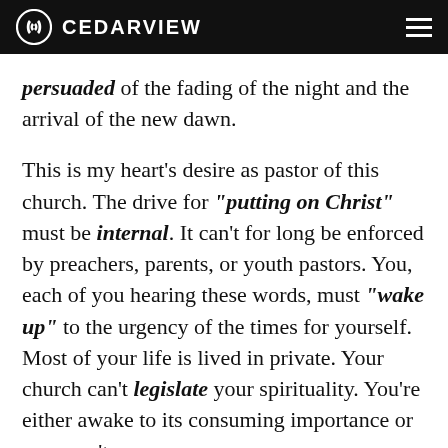CEDARVIEW
persuaded of the fading of the night and the arrival of the new dawn.
This is my heart's desire as pastor of this church. The drive for "putting on Christ" must be internal. It can't for long be enforced by preachers, parents, or youth pastors. You, each of you hearing these words, must "wake up" to the urgency of the times for yourself. Most of your life is lived in private. Your church can't legislate your spirituality. You're either awake to its consuming importance or you aren't.
Christians have to keep waking themselves up in this drowsy, lazy world. This is obviously